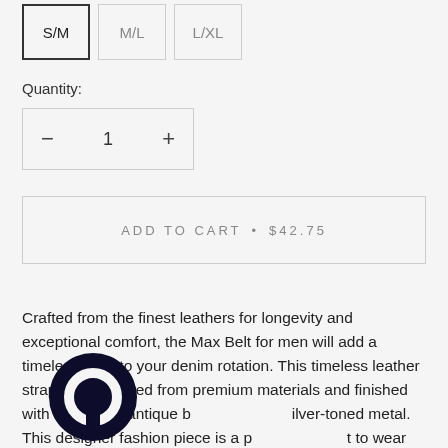S/M  M/L  L/XL
Quantity:
— 1 +
ADD TO CART • $42.75
Crafted from the finest leathers for longevity and exceptional comfort, the Max Belt for men will add a timeless style to your denim rotation. This timeless leather strap belt is crafted from premium materials and finished with a squared antique buckle silver-toned metal. This designer fashion piece is a perfect to wear with your new jeans.
[Figure (logo): Dark navy circular logo/icon overlaid on bottom-left of description text]